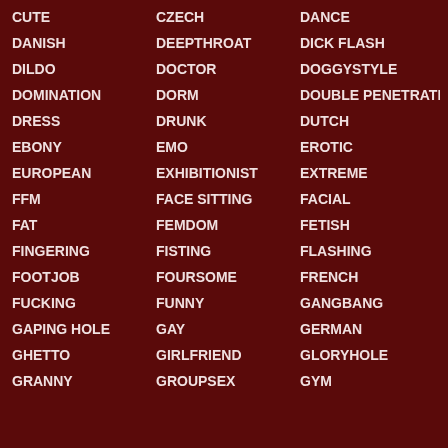CUTE
CZECH
DANCE
DANISH
DEEPTHROAT
DICK FLASH
DILDO
DOCTOR
DOGGYSTYLE
DOMINATION
DORM
DOUBLE PENETRATION
DRESS
DRUNK
DUTCH
EBONY
EMO
EROTIC
EUROPEAN
EXHIBITIONIST
EXTREME
FFM
FACE SITTING
FACIAL
FAT
FEMDOM
FETISH
FINGERING
FISTING
FLASHING
FOOTJOB
FOURSOME
FRENCH
FUCKING
FUNNY
GANGBANG
GAPING HOLE
GAY
GERMAN
GHETTO
GIRLFRIEND
GLORYHOLE
GRANNY
GROUPSEX
GYM